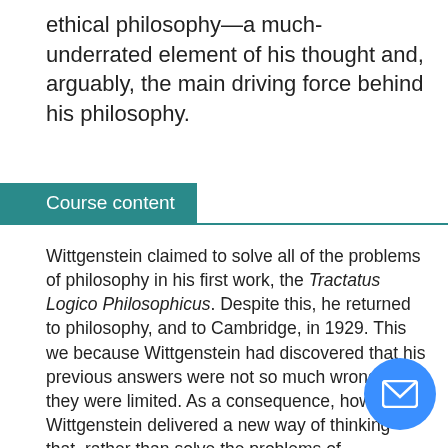ethical philosophy—a much-underrated element of his thought and, arguably, the main driving force behind his philosophy.
Course content
Wittgenstein claimed to solve all of the problems of philosophy in his first work, the Tractatus Logico Philosophicus. Despite this, he returned to philosophy, and to Cambridge, in 1929. This we because Wittgenstein had discovered that his previous answers were not so much wrong as they were limited. As a consequence, however, Wittgenstein delivered a new way of thinking that, rather than solve the problems of philosophy, revolutionised the practice of philosophy itself. We will consider the intended and unintended consequences of Wittgenstein's later philosophy; called 'linguistic turn'; and his wish to 'leave everything as it is'.